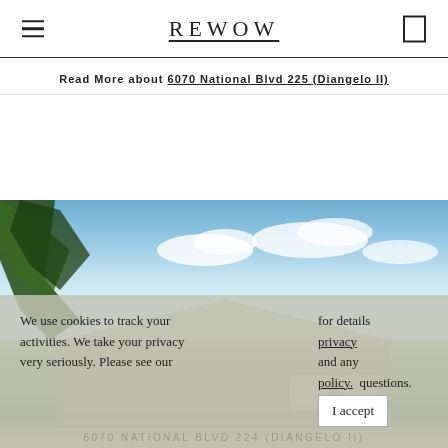REWOW
Read More about 6070 National Blvd 225 (Diangelo II)
[Figure (photo): Exterior photo of a residential property with palm trees, blue sky with clouds, and a house with garage in the background. A cookie consent overlay is partially visible over the lower portion of the image.]
We use cookies to track your activities. We take your privacy very seriously. Please see our for details privacy and any policy. questions.
6070 NATIONAL BLVD 224 (DIANGELO II)